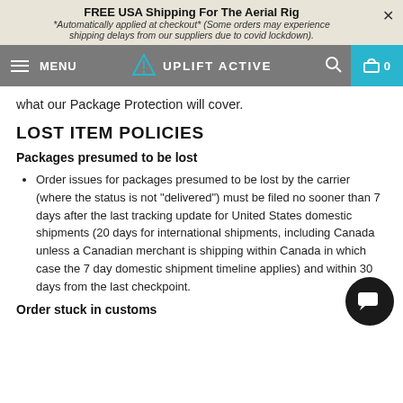FREE USA Shipping For The Aerial Rig
*Automatically applied at checkout* (Some orders may experience shipping delays from our suppliers due to covid lockdown).
MENU | UPLIFT ACTIVE | 0
what our Package Protection will cover.
LOST ITEM POLICIES
Packages presumed to be lost
Order issues for packages presumed to be lost by the carrier (where the status is not "delivered") must be filed no sooner than 7 days after the last tracking update for United States domestic shipments (20 days for international shipments, including Canada unless a Canadian merchant is shipping within Canada in which case the 7 day domestic shipment timeline applies) and within 30 days from the last checkpoint.
Order stuck in customs